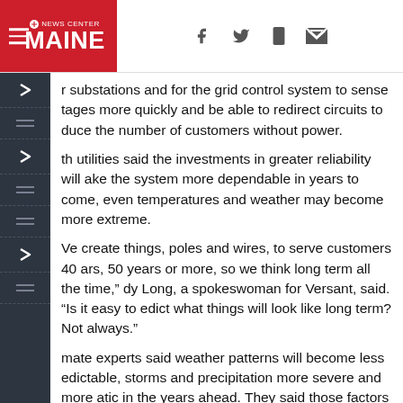News Center Maine
substations and for the grid control system to sense tages more quickly and be able to redirect circuits to duce the number of customers without power.
th utilities said the investments in greater reliability will ake the system more dependable in years to come, even temperatures and weather may become more extreme.
Ve create things, poles and wires, to serve customers 40 ars, 50 years or more, so we think long term all the time,” dy Long, a spokeswoman for Versant, said. “Is it easy to edict what things will look like long term? Not always.”
mate experts said weather patterns will become less edictable, storms and precipitation more severe and more atic in the years ahead. They said those factors mean ey need to reinforce the grid to stand up to more intense eather.